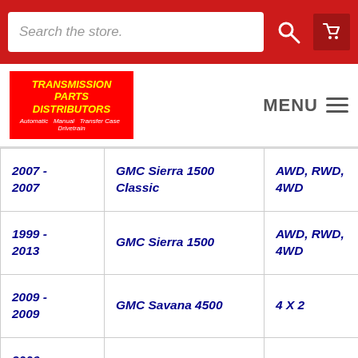Search the store
[Figure (logo): Transmission Parts Distributors logo - red background with yellow italic bold text]
| Year Range | Model | Drive Type |
| --- | --- | --- |
| 2007 - 2007 | GMC Sierra 1500 Classic | AWD, RWD, 4WD |
| 1999 - 2013 | GMC Sierra 1500 | AWD, RWD, 4WD |
| 2009 - 2009 | GMC Savana 4500 | 4 X 2 |
| 2006 - 2009 | GMC Savana 3500 | RWD |
| 1996 - 2009 | GMC Savana 2500 | AWD, RWD |